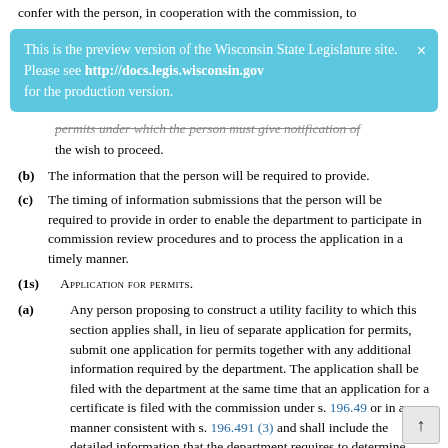confer with the person, in cooperation with the commission, to
[Figure (screenshot): Light blue banner notification: 'This is the preview version of the Wisconsin State Legislature site. Please see http://docs.legis.wisconsin.gov for the production version.' with an × close button.]
permits under which the person must give notification of the wish to proceed.
(b) The information that the person will be required to provide.
(c) The timing of information submissions that the person will be required to provide in order to enable the department to participate in commission review procedures and to process the application in a timely manner.
(1s) Application for permits.
(a) Any person proposing to construct a utility facility to which this section applies shall, in lieu of separate application for permits, submit one application for permits together with any additional information required by the department. The application shall be filed with the department at the same time that an application for a certificate is filed with the commission under s. 196.49 or in a manner consistent with s. 196.491 (3) and shall include the detailed information that the department requires to determine whether an application is complete and to carry out its obligations under sub. (4). The department may require supplement